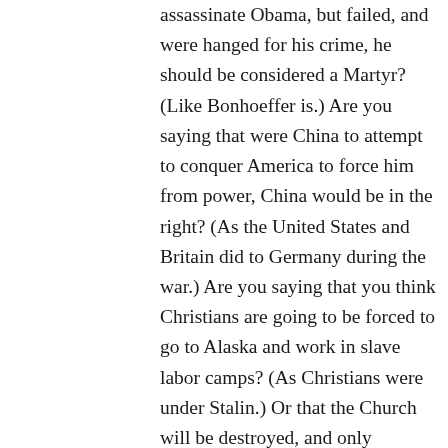assassinate Obama, but failed, and were hanged for his crime, he should be considered a Martyr? (Like Bonhoeffer is.) Are you saying that were China to attempt to conquer America to force him from power, China would be in the right? (As the United States and Britain did to Germany during the war.) Are you saying that you think Christians are going to be forced to go to Alaska and work in slave labor camps? (As Christians were under Stalin.) Or that the Church will be destroyed, and only allowed to remain inasmuch as it becomes an agent of the secret police? (As happened under Stalin.) Yes, the fact that Obama requires Catholic